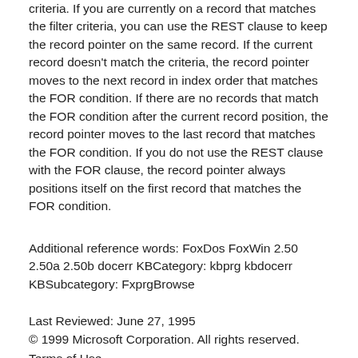criteria. If you are currently on a record that matches the filter criteria, you can use the REST clause to keep the record pointer on the same record. If the current record doesn't match the criteria, the record pointer moves to the next record in index order that matches the FOR condition. If there are no records that match the FOR condition after the current record position, the record pointer moves to the last record that matches the FOR condition. If you do not use the REST clause with the FOR clause, the record pointer always positions itself on the first record that matches the FOR condition.
Additional reference words: FoxDos FoxWin 2.50 2.50a 2.50b docerr KBCategory: kbprg kbdocerr KBSubcategory: FxprgBrowse
Last Reviewed: June 27, 1995
© 1999 Microsoft Corporation. All rights reserved. Terms of Use.